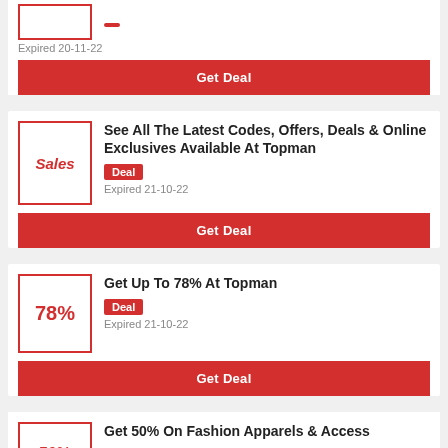Expired 20-11-22
Get Deal
See All The Latest Codes, Offers, Deals & Online Exclusives Available At Topman
Deal
Expired 21-10-22
Get Deal
Get Up To 78% At Topman
Deal
Expired 21-10-22
Get Deal
Get 50% On Fashion Apparels & Access
ories